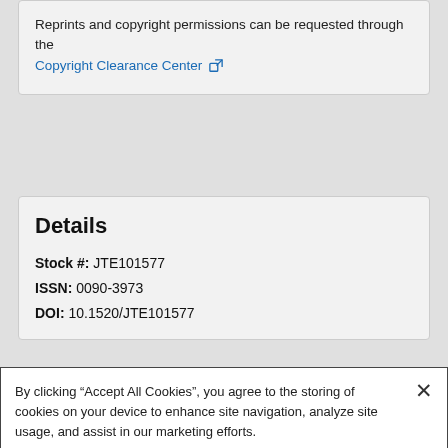Reprints and copyright permissions can be requested through the Copyright Clearance Center
Details
Stock #: JTE101577
ISSN: 0090-3973
DOI: 10.1520/JTE101577
By clicking “Accept All Cookies”, you agree to the storing of cookies on your device to enhance site navigation, analyze site usage, and assist in our marketing efforts.
Cookies Settings
Reject All
Accept All Cookies